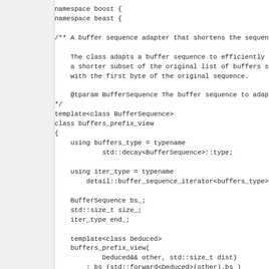namespace boost {
namespace beast {

/** A buffer sequence adapter that shortens the sequence si

    The class adapts a buffer sequence to efficiently repres
    a shorter subset of the original list of buffers starti
    with the first byte of the original sequence.

    @tparam BufferSequence The buffer sequence to adapt.
*/
template<class BufferSequence>
class buffers_prefix_view
{
    using buffers_type = typename
            std::decay<BufferSequence>::type;

    using iter_type = typename
        detail::buffer_sequence_iterator<buffers_type>::type

    BufferSequence bs_;
    std::size_t size_;
    iter_type end_;

    template<class Deduced>
    buffers_prefix_view(
            Deduced&& other, std::size_t dist)
        : bs_(std::forward<Deduced>(other).bs_)
        , size_(other.size_)
        , end_(std::next(bs_.begin(), dist))
    {
    }

    void
    setup(std::size_t size);

public:
    /** The type of each element in the list of buffe